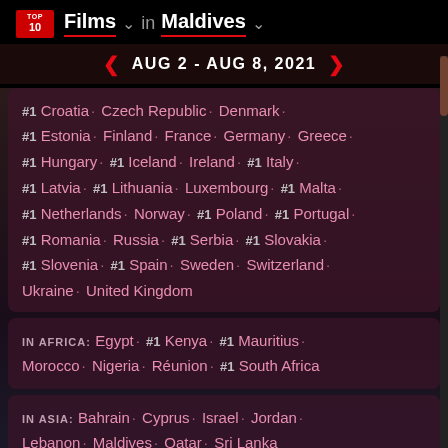TOP 10 Films in Maldives — AUG 2 - AUG 8, 2021
#1 Croatia · Czech Republic · Denmark · #1 Estonia · Finland · France · Germany · Greece · #1 Hungary · #1 Iceland · Ireland · #1 Italy · #1 Latvia · #1 Lithuania · Luxembourg · #1 Malta · #1 Netherlands · Norway · #1 Poland · #1 Portugal · #1 Romania · Russia · #1 Serbia · #1 Slovakia · #1 Slovenia · #1 Spain · Sweden · Switzerland · Ukraine · United Kingdom
IN AFRICA: Egypt · #1 Kenya · #1 Mauritius · Morocco · Nigeria · Réunion · #1 South Africa
IN ASIA: Bahrain · Cyprus · Israel · Jordan · Lebanon · Maldives · Qatar · Sri Lanka